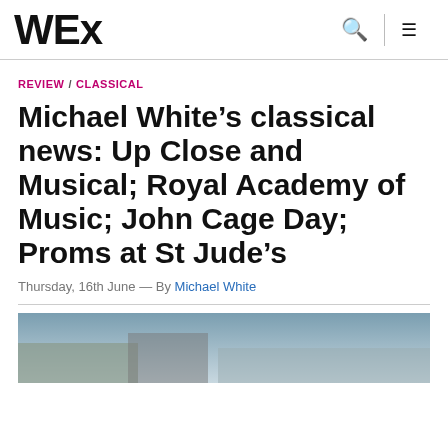WEx
REVIEW / CLASSICAL
Michael White’s classical news: Up Close and Musical; Royal Academy of Music; John Cage Day; Proms at St Jude’s
Thursday, 16th June — By Michael White
[Figure (photo): Partial photograph visible at bottom of page, appears to be a classical music related image]